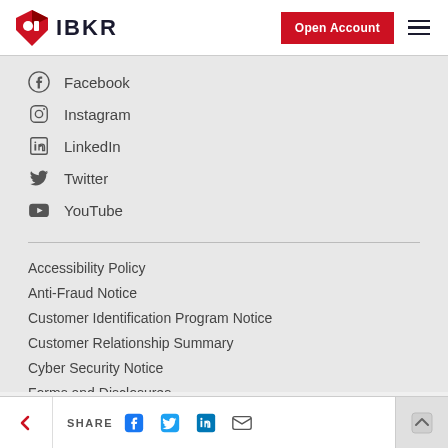IBKR — Interactive Brokers. Open Account.
Facebook
Instagram
LinkedIn
Twitter
YouTube
Accessibility Policy
Anti-Fraud Notice
Customer Identification Program Notice
Customer Relationship Summary
Cyber Security Notice
Forms and Disclosures
Privacy Policy
Site Map
SHARE — Facebook, Twitter, LinkedIn, Email. Back to top.